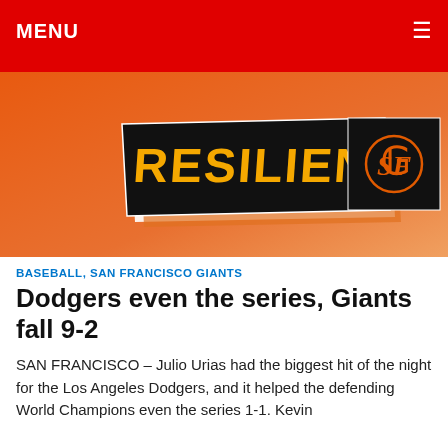MENU
[Figure (illustration): SF Giants 'RESILIENT' branded image with orange gradient background, black banner with yellow text 'RESILIENT' and SF Giants logo in orange on black square]
BASEBALL, SAN FRANCISCO GIANTS
Dodgers even the series, Giants fall 9-2
SAN FRANCISCO – Julio Urias had the biggest hit of the night for the Los Angeles Dodgers, and it helped the defending World Champions even the series 1-1. Kevin